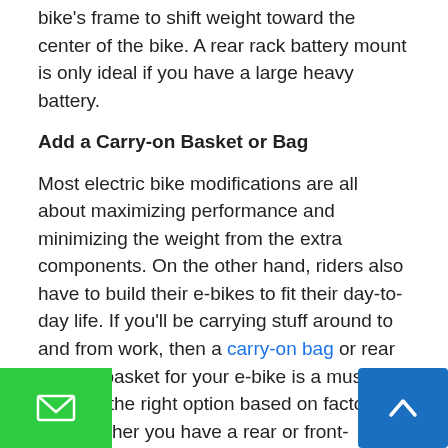bike's frame to shift weight toward the center of the bike. A rear rack battery mount is only ideal if you have a large heavy battery.
Add a Carry-on Basket or Bag
Most electric bike modifications are all about maximizing performance and minimizing the weight from the extra components. On the other hand, riders also have to build their e-bikes to fit their day-to-day life. If you'll be carrying stuff around to and from work, then a carry-on bag or rear or front basket for your e-bike is a must. Choose the right option based on factors like whether you have a rear or front-mounted hub motor or battery to ensure stability and a smooth ride.
Buy Ebike Add-Ons at Leeds Bikes
If you're looking to upgrade your ride with quality bik such as a taillight, handlebar battery bag, proof battery frame bag, rear rack, front battery